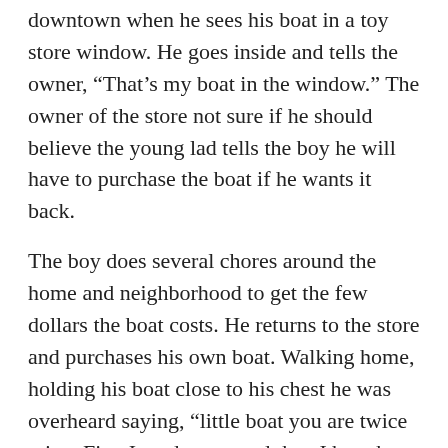downtown when he sees his boat in a toy store window. He goes inside and tells the owner, “That’s my boat in the window.” The owner of the store not sure if he should believe the young lad tells the boy he will have to purchase the boat if he wants it back.
The boy does several chores around the home and neighborhood to get the few dollars the boat costs. He returns to the store and purchases his own boat. Walking home, holding his boat close to his chest he was overheard saying, “little boat you are twice mine. First I made you, and then I bought you.” That is what Jesus is telling us through the Sabbath today. As we rest from our works on the Sabbath and put our faith in Him, He tells us, “You are twice mine. First, at creation I made you, and then at the cross I bought you.”